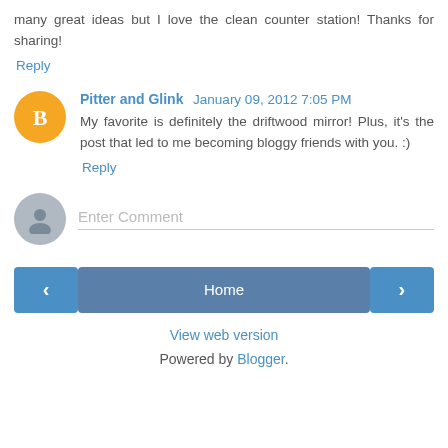many great ideas but I love the clean counter station! Thanks for sharing!
Reply
Pitter and Glink January 09, 2012 7:05 PM
My favorite is definitely the driftwood mirror! Plus, it's the post that led to me becoming bloggy friends with you. :)
Reply
Enter Comment
Home
View web version
Powered by Blogger.